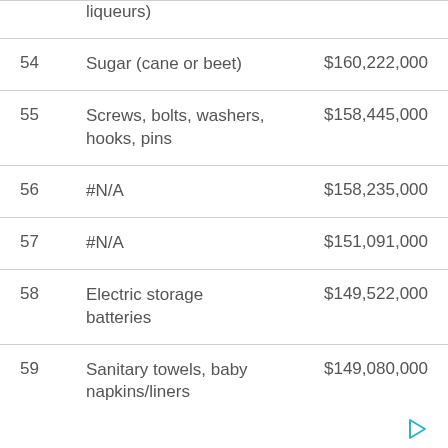| # | Description | Value |
| --- | --- | --- |
|  | liqueurs) |  |
| 54 | Sugar (cane or beet) | $160,222,000 |
| 55 | Screws, bolts, washers, hooks, pins | $158,445,000 |
| 56 | #N/A | $158,235,000 |
| 57 | #N/A | $151,091,000 |
| 58 | Electric storage batteries | $149,522,000 |
| 59 | Sanitary towels, baby napkins/liners | $149,080,000 |